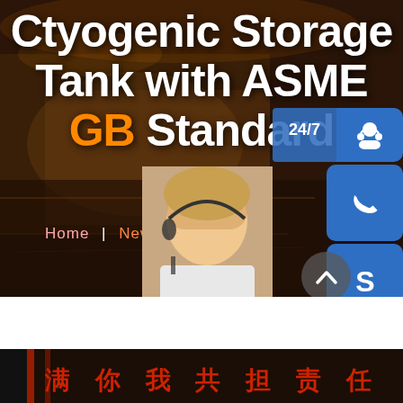[Figure (screenshot): Website hero banner for Cryogenic Storage Tank with ASME GB Standard. Dark industrial background with large white bold title text, navigation links (Home | News), a customer service sidebar widget with 24/7 label, phone icon, headset icon, Skype icon, an 'online live' button, a female customer service agent photo, and a scroll-up arrow button. Bottom strip shows a Chinese text banner in red characters.]